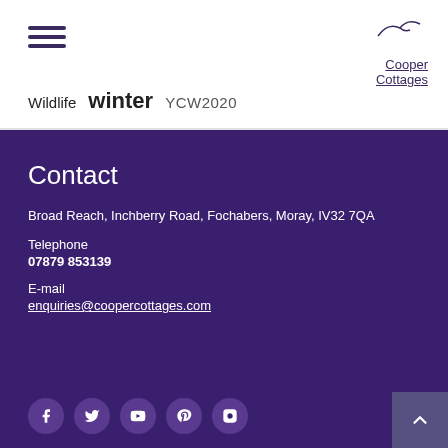[Figure (logo): Cooper Cottages logo with stylized bird/wave above text]
Wildlife  winter  YCW2020
Contact
Broad Reach, Inchberry Road, Fochabers, Moray, IV32 7QA
Telephone
07879 853139
E-mail
enquiries@coopercottages.com